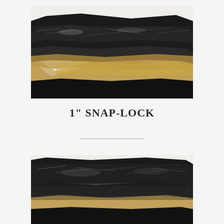[Figure (photo): Close-up photograph of 1 inch snap-lock material showing black foam/fibrous texture with gold/tan backing, viewed at an angle]
1" SNAP-LOCK
[Figure (photo): Second close-up photograph of 1 inch snap-lock material showing black foam/fibrous texture with tan backing, slightly different angle]